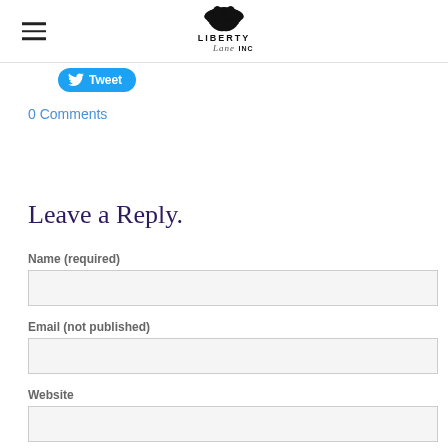Liberty Lane INC
[Figure (logo): Liberty Lane INC logo with bird silhouette above text]
Tweet
0 Comments
Leave a Reply.
Name (required)
Email (not published)
Website